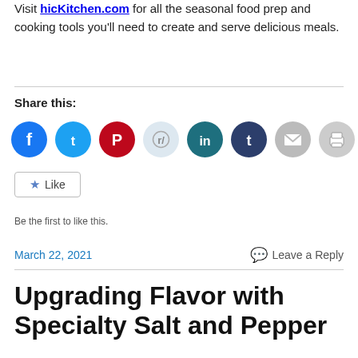Visit hicKitchen.com for all the seasonal food prep and cooking tools you'll need to create and serve delicious meals.
Share this:
[Figure (infographic): Social sharing icons row: Facebook (blue), Twitter (light blue), Pinterest (red), Reddit (light blue/grey), LinkedIn (dark teal), Tumblr (dark navy), Email (grey), Print (grey)]
Like
Be the first to like this.
March 22, 2021    Leave a Reply
Upgrading Flavor with Specialty Salt and Pepper